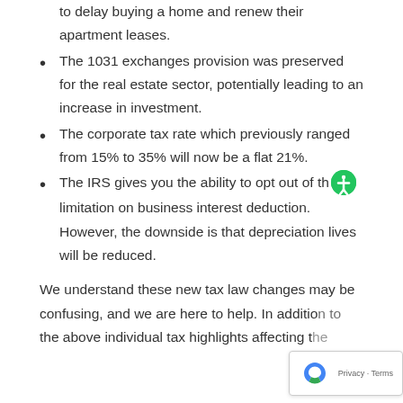to delay buying a home and renew their apartment leases.
The 1031 exchanges provision was preserved for the real estate sector, potentially leading to an increase in investment.
The corporate tax rate which previously ranged from 15% to 35% will now be a flat 21%.
The IRS gives you the ability to opt out of the limitation on business interest deduction. However, the downside is that depreciation lives will be reduced.
We understand these new tax law changes may be confusing, and we are here to help. In addition to the above individual tax highlights affecting t...